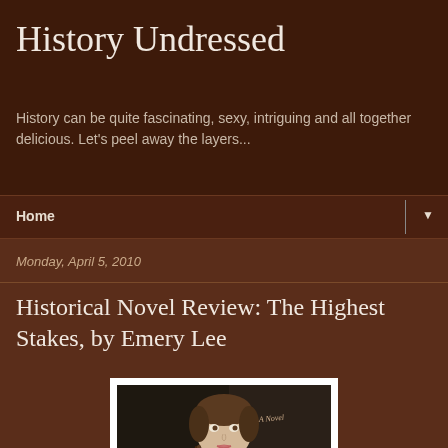History Undressed
History can be quite fascinating, sexy, intriguing and all together delicious. Let's peel away the layers...
Home
Monday, April 5, 2010
Historical Novel Review: The Highest Stakes, by Emery Lee
[Figure (illustration): Book cover of 'The Highest Stakes' by Emery Lee showing a historical portrait painting of a young woman in period dress holding a circular object, with pearl necklace and light blue/grey clothing against a dark background]